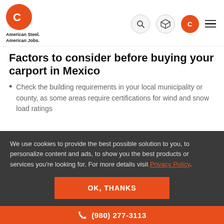American Steel. American Jobs.
Factors to consider before buying your carport in Mexico
Check the building requirements in your local municipality or county, as some areas require certifications for wind and snow load ratings
We use cookies to provide the best possible solution to you, to personalize content and ads, to show you the best products or services you're looking for. For more details visit Privacy Policy.
OK, THANKS
(980) 277-3113